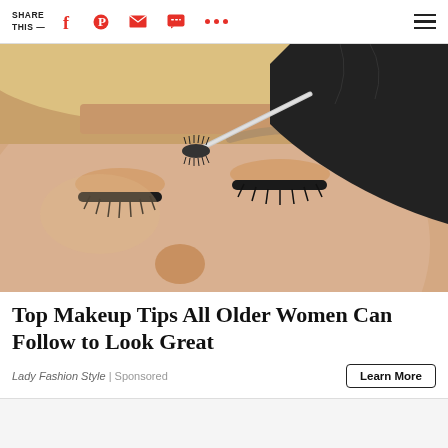SHARE THIS —
[Figure (photo): Close-up photo of a woman with eyes closed having her eyebrow groomed with a spoolie brush by a person wearing a black latex glove.]
Top Makeup Tips All Older Women Can Follow to Look Great
Lady Fashion Style | Sponsored
Learn More